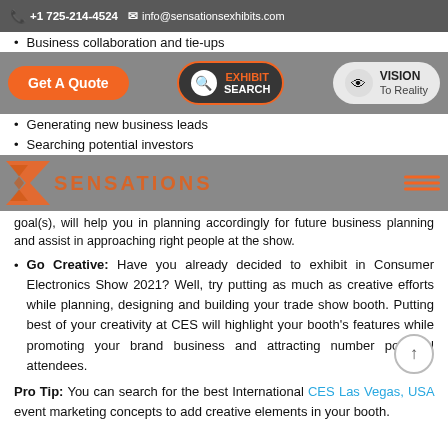+1 725-214-4524  info@sensationsexhibits.com
[Figure (screenshot): Navigation overlay with Get A Quote orange button, Exhibit Search button, and Vision To Reality button on gray background]
Business collaboration and tie-ups
Generating new business leads
Searching potential investors
...goal(s), will help you in planning accordingly for future business planning and assist in approaching right people at the show.
[Figure (logo): Sensations Exhibits logo with orange sigma/arrow shape and text overlay]
Go Creative: Have you already decided to exhibit in Consumer Electronics Show 2021? Well, try putting as much as creative efforts while planning, designing and building your trade show booth. Putting best of your creativity at CES will highlight your booth's features while promoting your brand business and attracting number potential attendees.
Pro Tip: You can search for the best International CES Las Vegas, USA event marketing concepts to add creative elements in your booth.